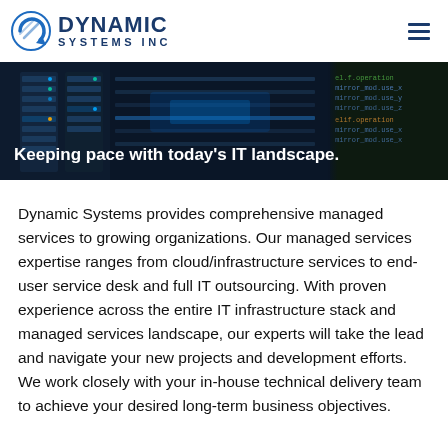[Figure (logo): Dynamic Systems Inc logo with circular arrow icon and bold company name]
[Figure (photo): Dark hero banner with server room / code background and white text reading 'Keeping pace with today's IT landscape.']
Dynamic Systems provides comprehensive managed services to growing organizations. Our managed services expertise ranges from cloud/infrastructure services to end-user service desk and full IT outsourcing. With proven experience across the entire IT infrastructure stack and managed services landscape, our experts will take the lead and navigate your new projects and development efforts. We work closely with your in-house technical delivery team to achieve your desired long-term business objectives.